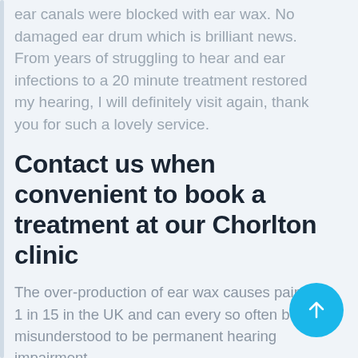ear canals were blocked with ear wax. No damaged ear drum which is brilliant news. From years of struggling to hear and ear infections to a 20 minute treatment restored my hearing, I will definitely visit again, thank you for such a lovely service.
Contact us when convenient to book a treatment at our Chorlton clinic
The over-production of ear wax causes pain for 1 in 15 in the UK and can every so often be misunderstood to be permanent hearing impairment.
The build up of ear wax is an entirely natural process to protect your ears from external